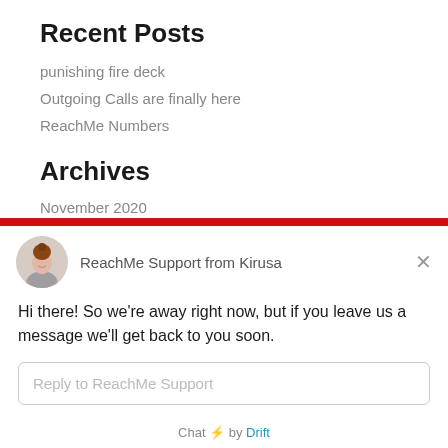Recent Posts
punishing fire deck
Outgoing Calls are finally here
ReachMe Numbers
Archives
November 2020
r 2018
[Figure (screenshot): Drift chat widget showing ReachMe Support from Kirusa with avatar photo of a woman, red horizontal bar, away message, reply input field, and Chat by Drift footer]
Hi there! So we're away right now, but if you leave us a message we'll get back to you soon.
Reply to ReachMe Support
Chat ⚡ by Drift